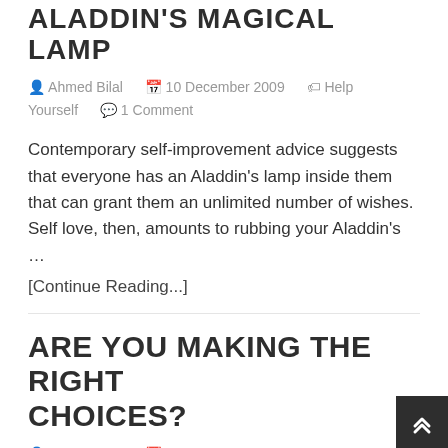ALADDIN'S MAGICAL LAMP
Ahmed Bilal   10 December 2009   Help Yourself   1 Comment
Contemporary self-improvement advice suggests that everyone has an Aladdin's lamp inside them that can grant them an unlimited number of wishes. Self love, then, amounts to rubbing your Aladdin's …
[Continue Reading...]
ARE YOU MAKING THE RIGHT CHOICES?
Ahmed Bilal   13 December 2008   Help Yourself   2 Comments
What's Important, What's Not? There's a guy down my street who lives alone. One morning he woke up,